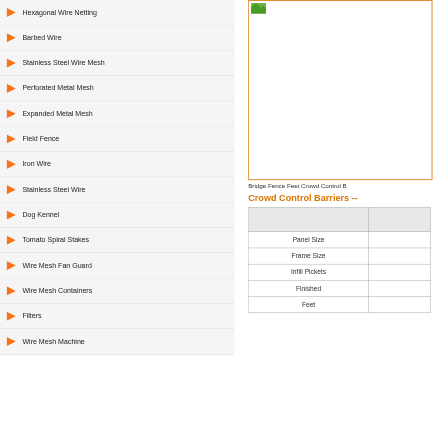Hexagonal Wire Netting
Barbed Wire
Stainless Steel Wire Mesh
Perforated Metal Mesh
Expanded Metal Mesh
Field Fence
Iron Wire
Stainless Steel Wire
Dog Kennel
Tomato Spiral Stakes
Wire Mesh Fan Guard
Wire Mesh Containers
Filters
Wire Mesh Machine
[Figure (photo): Product image of Bridge Fence Feet Crowd Control Barrier]
Bridge Fence Feet Crowd Control B...
Crowd Control Barriers --
| Panel Size |  |
| --- | --- |
| Frame Size |  |
| Infill Pickets |  |
| Finished |  |
| Feet |  |